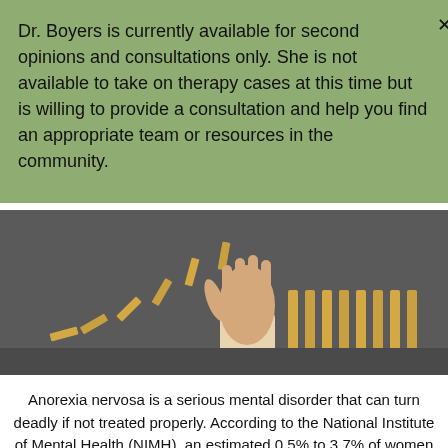Dr. Boyers is currently available for second opinions and consultations only. She is not available to take on therapy cases at this time but is willing to provide a consultation and help you find an appropriate team or resources in the community.
[Figure (photo): A hand stopping falling dominoes on a gray surface]
Anorexia nervosa is a serious mental disorder that can turn deadly if not treated properly. According to the National Institute of Mental Health (NIMH), an estimated 0.5% to 3.7% of women will suffer from this disorder. While anorexia is typically thought of a